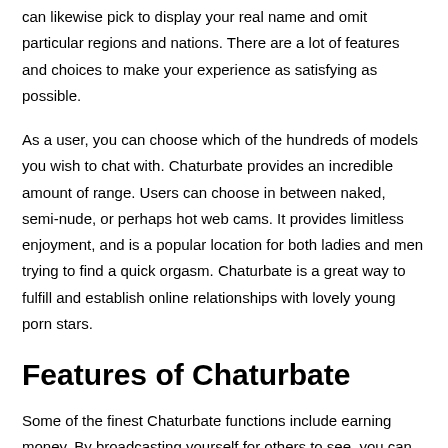can likewise pick to display your real name and omit particular regions and nations. There are a lot of features and choices to make your experience as satisfying as possible.
As a user, you can choose which of the hundreds of models you wish to chat with. Chaturbate provides an incredible amount of range. Users can choose in between naked, semi-nude, or perhaps hot web cams. It provides limitless enjoyment, and is a popular location for both ladies and men trying to find a quick orgasm. Chaturbate is a great way to fulfill and establish online relationships with lovely young porn stars.
Features of Chaturbate
Some of the finest Chaturbate functions include earning money. By broadcasting yourself for others to see, you can make tokens and begin making some money from home. There are likewise video tutorials and guidance on how to construct a big fan base and